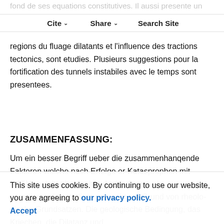Cite ▾   Share ▾   Search Site
regions du fluage dilatants et l'influence des tractions tectonics, sont etudies. Plusieurs suggestions pour la fortification des tunnels instabiles avec le temps sont presentees.
ZUSAMMENFASSUNG:
Um ein besser Begriff ueber die zusammenhanqende Faktoren welche nach Erfolge or Katasprophen mit NATM, geleitet haben hat der Verfasser ein grundlegendes studium gemacht auf Grund von rheolo- gische Grundsatzen. Die geologische Bedingung, das Kriechen, die Dilatanz und
langzeitliche Festigkeit werden als wichtige Faktoren
This site uses cookies. By continuing to use our website, you are agreeing to our privacy policy. Accept